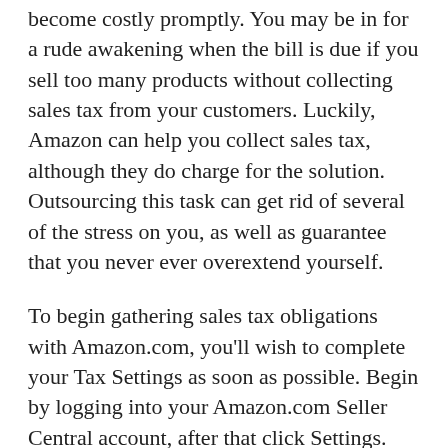become costly promptly. You may be in for a rude awakening when the bill is due if you sell too many products without collecting sales tax from your customers. Luckily, Amazon can help you collect sales tax, although they do charge for the solution. Outsourcing this task can get rid of several of the stress on you, as well as guarantee that you never ever overextend yourself.
To begin gathering sales tax obligations with Amazon.com, you'll wish to complete your Tax Settings as soon as possible. Begin by logging into your Amazon.com Seller Central account, after that click Settings. Next, pick Tax Setups, and afterward select View/Edit Your Tax Collection. From there, you can fill out